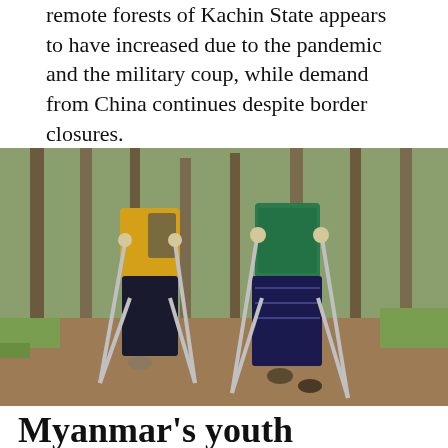remote forests of Kachin State appears to have increased due to the pandemic and the military coup, while demand from China continues despite border closures.
[Figure (photo): Two people using crutches walking through a forest with pine trees. The person on the left wears a yellow shirt and camouflage backpack; the person on the right wears a green patterned jacket and dark blue patterned skirt.]
Myanmar's youth sacrificing life